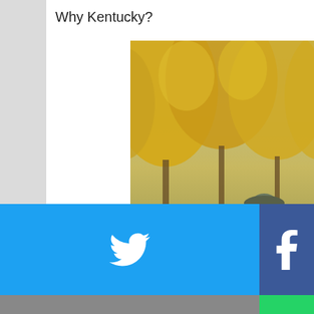Why Kentucky?
[Figure (photo): Bronze military statues holding small American flags, set against autumn trees with yellow and orange foliage and evergreen shrubs in the background.]
[Figure (infographic): Social media share buttons grid: Twitter (blue), Facebook (dark blue), Email (gray), WhatsApp (green), SMS (blue), Copy link (green). Each button shows the respective icon in white.]
e · Dec 13, 2020
bush our military to trai